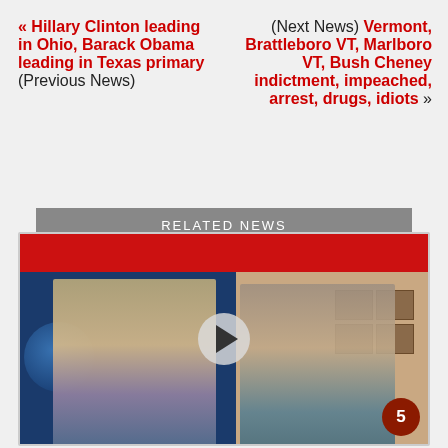« Hillary Clinton leading in Ohio, Barack Obama leading in Texas primary (Previous News)
(Next News) Vermont, Brattleboro VT, Marlboro VT, Bush Cheney indictment, impeached, arrest, drugs, idiots »
RELATED NEWS
[Figure (photo): Video thumbnail showing two men in suits — a news anchor on left against blue broadcast background, and an interviewee on right in an office setting with diplomas on wall. A play button is visible in the center and a channel logo badge in the bottom right corner.]